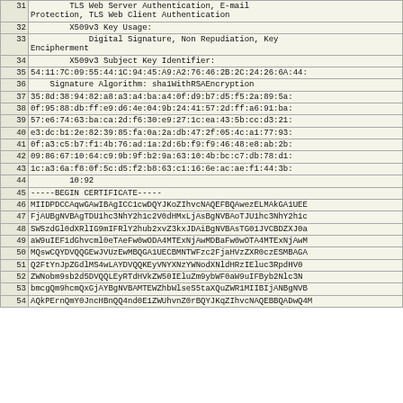| Line | Content |
| --- | --- |
| 31 |         TLS Web Server Authentication, E-mail
Protection, TLS Web Client Authentication |
| 32 |         X509v3 Key Usage: |
| 33 |             Digital Signature, Non Repudiation, Key
Encipherment |
| 34 |         X509v3 Subject Key Identifier: |
| 35 | 54:11:7C:09:55:44:1C:94:45:A9:A2:76:46:2B:2C:24:26:6A:44: |
| 36 |     Signature Algorithm: sha1WithRSAEncryption |
| 37 | 35:8d:38:94:82:a8:a3:a4:ba:a4:0f:d9:b7:d5:f5:2a:89:5a: |
| 38 | 0f:95:88:db:ff:e9:d6:4e:04:9b:24:41:57:2d:ff:a6:91:ba: |
| 39 | 57:e6:74:63:ba:ca:2d:f6:30:e9:27:1c:ea:43:5b:cc:d3:21: |
| 40 | e3:dc:b1:2e:82:39:85:fa:0a:2a:db:47:2f:05:4c:a1:77:93: |
| 41 | 0f:a3:c5:b7:f1:4b:76:ad:1a:2d:6b:f9:f9:46:48:e8:ab:2b: |
| 42 | 09:86:67:10:64:c9:9b:9f:b2:9a:63:10:4b:bc:c7:db:78:d1: |
| 43 | 1c:a3:6a:f8:0f:5c:d5:f2:b8:63:c1:16:6e:ac:ae:f1:44:3b: |
| 44 |         10:92 |
| 45 | -----BEGIN CERTIFICATE----- |
| 46 | MIIDPDCCAqwGAwIBAgICC1cwDQYJKoZIhvcNAQEFBQAwezELMAkGA1UEE |
| 47 | FjAUBgNVBAgTDU1hc3NhY2h1c2V0dHMxLjAsBgNVBAoTJU1hc3NhY2h1c |
| 48 | SW5zdGl0dXRlIG9mIFRlY2hub2xvZ3kxJDAiBgNVBAsTG01JVCBDZXJ0a |
| 49 | aW9uIEF1dGhvcml0eTAeFw0wODA4MTExNjAwMDBaFw0wOTA4MTExNjAwM |
| 50 | MQswCQYDVQQGEwJVUzEwMBQGA1UECBMNTWFzc2FjaHVzZXR0czESMBAGA |
| 51 | Q2FtYnJpZGdlMS4wLAYDVQQKEyVNYXNzYWNodXNldHRzIEluc3RpdHV0 |
| 52 | ZWNobm9sb2d5DVQQLEyRTdHVkZW50IEluZm9ybWF0aW9uIFByb2Nlc3N |
| 53 | bmcgQm9hcmQxGjAYBgNVBAMTEWZhbWlseS5taXQuZWR1MIIBIjANBgNVB |
| 54 | AQkPErnQmY0JncHBnQQ4nd0E1ZWUhvnZ0rBQYJKqZIhvcNAQEBBQADwQ4M |